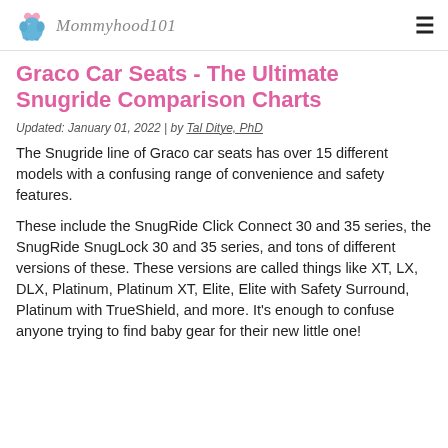Mommyhood101
Graco Car Seats - The Ultimate Snugride Comparison Charts
Updated: January 01, 2022 | by Tal Ditye, PhD
The Snugride line of Graco car seats has over 15 different models with a confusing range of convenience and safety features.
These include the SnugRide Click Connect 30 and 35 series, the SnugRide SnugLock 30 and 35 series, and tons of different versions of these. These versions are called things like XT, LX, DLX, Platinum, Platinum XT, Elite, Elite with Safety Surround, Platinum with TrueShield, and more. It's enough to confuse anyone trying to find baby gear for their new little one!